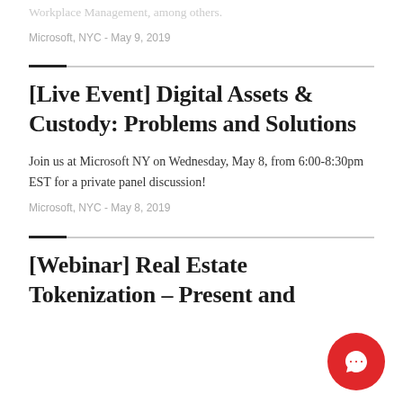Workplace Management, among others.
Microsoft, NYC - May 9, 2019
[Live Event] Digital Assets & Custody: Problems and Solutions
Join us at Microsoft NY on Wednesday, May 8, from 6:00-8:30pm EST for a private panel discussion!
Microsoft, NYC - May 8, 2019
[Webinar] Real Estate Tokenization – Present and